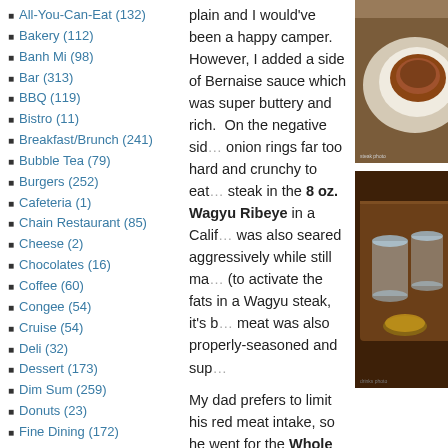All-You-Can-Eat (132)
Bakery (112)
Banh Mi (98)
Bar (313)
BBQ (119)
Bistro (11)
Breakfast/Brunch (241)
Bubble Tea (79)
Burgers (252)
Cafeteria (1)
Chain Restaurant (85)
Cheese (2)
Chocolates (16)
Coffee (60)
Congee (54)
Cruise (54)
Deli (32)
Dessert (173)
Dim Sum (259)
Donuts (23)
Fine Dining (172)
Fish n Chips (49)
plain and I would've been a happy camper. However, I added a side of Bernaise sauce which was super buttery and rich. On the negative side, onion rings far too hard and crunchy to eat... steak in the 8 oz. Wagyu Ribeye in a California... was also seared aggressively while still ma... (to activate the fats in a Wagyu steak, it's b... meat was also properly-seasoned and sup...
My dad prefers to limit his red meat intake, so he went for the Whole Dover Sole with lemon & capers and oregano.
[Figure (photo): A plate with a cooked steak, viewed from above on a white plate with a wooden background]
[Figure (photo): Drinks and food items on a wooden board, including glasses of water and what appears to be a condiment or sauce]